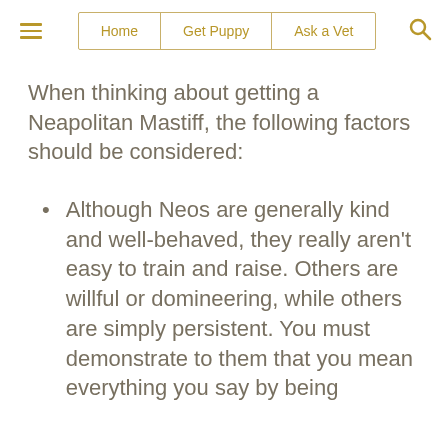Home | Get Puppy | Ask a Vet
When thinking about getting a Neapolitan Mastiff, the following factors should be considered:
Although Neos are generally kind and well-behaved, they really aren't easy to train and raise. Others are willful or domineering, while others are simply persistent. You must demonstrate to them that you mean everything you say by being